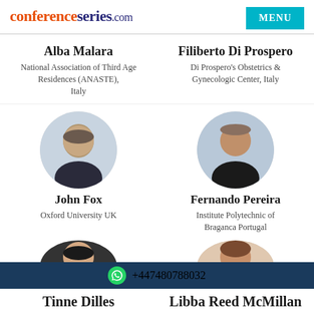conferenceseries.com
Alba Malara
Filiberto Di Prospero
National Association of Third Age Residences (ANASTE), Italy
Di Prospero's Obstetrics & Gynecologic Center, Italy
[Figure (photo): Circular portrait photo of John Fox]
[Figure (photo): Circular portrait photo of Fernando Pereira]
John Fox
Fernando Pereira
Oxford University UK
Institute Polytechnic of Braganca Portugal
[Figure (photo): Circular portrait photo of Tinne Dilles (partially visible)]
[Figure (photo): Circular portrait photo of Libba Reed McMillan (partially visible)]
+447480788032
Tinne Dilles
Libba Reed McMillan